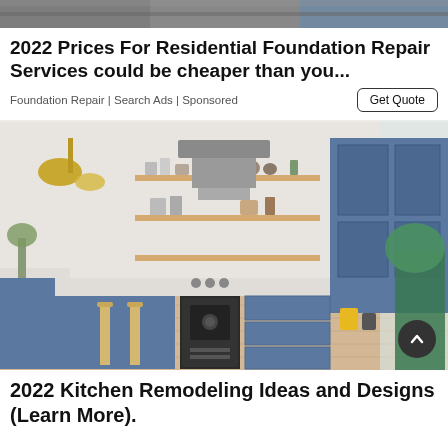[Figure (photo): Top banner image showing what appears to be a road or construction surface]
2022 Prices For Residential Foundation Repair Services could be cheaper than you...
Foundation Repair | Search Ads | Sponsored
[Figure (photo): Modern kitchen interior with blue cabinets, open shelving, gold pendant lights, gas range with range hood, and light wood floors]
2022 Kitchen Remodeling Ideas and Designs (Learn More).